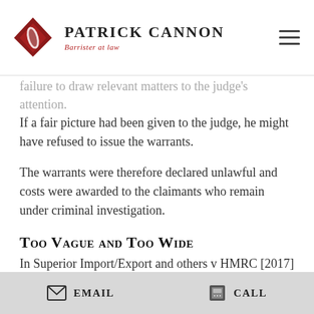Patrick Cannon — Barrister at law
failure to draw relevant matters to the judge's attention. If a fair picture had been given to the judge, he might have refused to issue the warrants.
The warrants were therefore declared unlawful and costs were awarded to the claimants who remain under criminal investigation.
Too Vague and Too Wide
In Superior Import/Export and others v HMRC [2017] EWHC 3172 the High Court found that search warrants executed by HMRC had been unlawful.
HMRC had carried on a criminal investigation in relation to large scale excise duty evasion and the subsequent
Email   Call